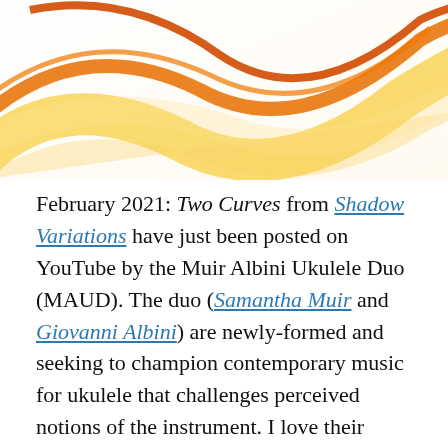[Figure (illustration): Decorative abstract flowing curves in orange, gold, and yellow on white background]
February 2021: Two Curves from Shadow Variations have just been posted on YouTube by the Muir Albini Ukulele Duo (MAUD). The duo (Samantha Muir and Giovanni Albini) are newly-formed and seeking to champion contemporary music for ukulele that challenges perceived notions of the instrument. I love their performances of these two pieces – they have a complete